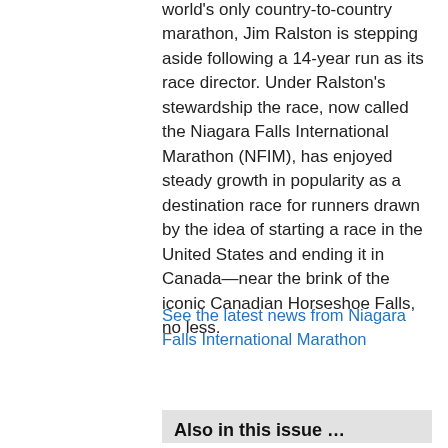world's only country-to-country marathon, Jim Ralston is stepping aside following a 14-year run as its race director. Under Ralston's stewardship the race, now called the Niagara Falls International Marathon (NFIM), has enjoyed steady growth in popularity as a destination race for runners drawn by the idea of starting a race in the United States and ending it in Canada—near the brink of the iconic Canadian Horseshoe Falls, no less.
See the latest news from Niagara Falls International Marathon
Also in this issue …
News from AIMS, IAAF, WMRA and IAU; Race dates; Race contact details.
Download PDF (17 MB)
Partners